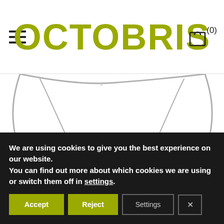OCTOBRIS (0)
[Figure (illustration): Partial view of a clothing item (underwear/shorts) in grey line art style, shown from the waist down, on white background]
We are using cookies to give you the best experience on our website.
You can find out more about which cookies we are using or switch them off in settings.
Accept   Reject   Settings   X